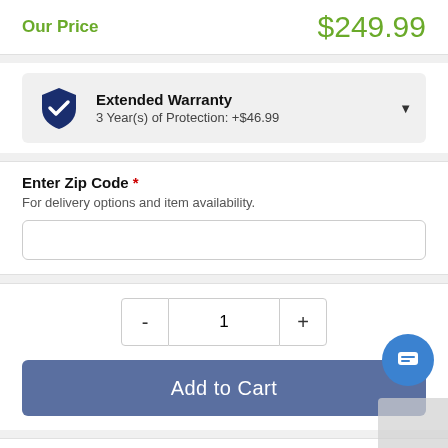Our Price  $249.99
Extended Warranty
3 Year(s) of Protection: +$46.99
Enter Zip Code *
For delivery options and item availability.
1
Add to Cart
Share This Item